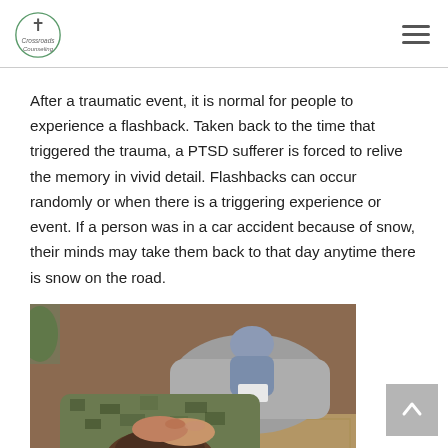Crossroads Counseling
After a traumatic event, it is normal for people to experience a flashback. Taken back to the time that triggered the trauma, a PTSD sufferer is forced to relive the memory in vivid detail. Flashbacks can occur randomly or when there is a triggering experience or event. If a person was in a car accident because of snow, their minds may take them back to that day anytime there is snow on the road.
[Figure (photo): A person in military camouflage clothing lying back with hands clasped behind their head, in a counseling session setting with a therapist seated in a chair in the background holding a notepad.]